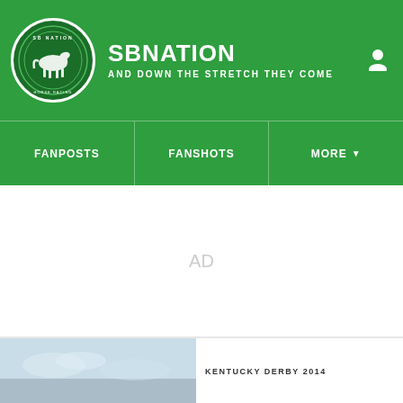SBNATION — AND DOWN THE STRETCH THEY COME
FANPOSTS | FANSHOTS | MORE
AD
KENTUCKY DERBY 2014